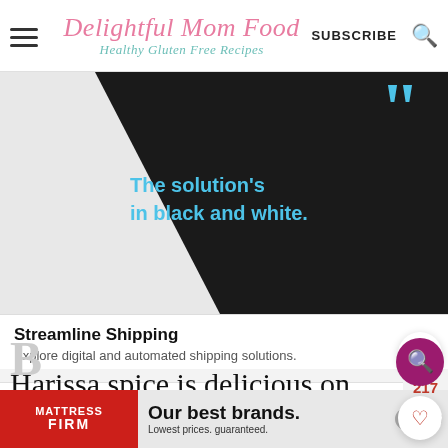Delightful Mom Food - Healthy Gluten Free Recipes | SUBSCRIBE
[Figure (screenshot): Advertisement for Zebra Technologies showing dark background with text 'The solution's in black and white.' and blue quotation marks, with title 'Streamline Shipping', description 'Explore digital and automated shipping solutions.' and 'Learn More' link]
Harissa spice is delicious on root vegetables such as beets.
[Figure (screenshot): Advertisement for Mattress Firm: 'Our best brands. Lowest prices. guaranteed.']